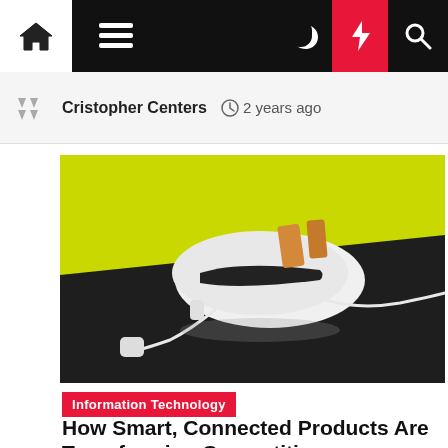Navigation bar with home, menu, dark mode, lightning, search icons
Cristopher Centers  2 years ago
[Figure (photo): A futuristic concept toaster in white with black accents sitting on a yellow and dark granite surface, with earbuds connected by a white cord — artistic product photography against a lime yellow background.]
Information Technology
How Smart, Connected Products Are Transforming Competition